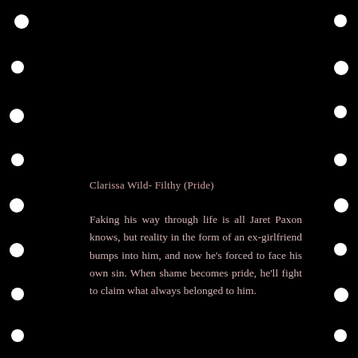[Figure (other): Black film strip background with white circular perforations on left and right edges, resembling a film reel strip]
Clarissa Wild- Filthy (Pride)
Faking his way through life is all Jaret Paxon knows, but reality in the form of an ex-girlfriend bumps into him, and now he's forced to face his own sin. When shame becomes pride, he'll fight to claim what always belonged to him.